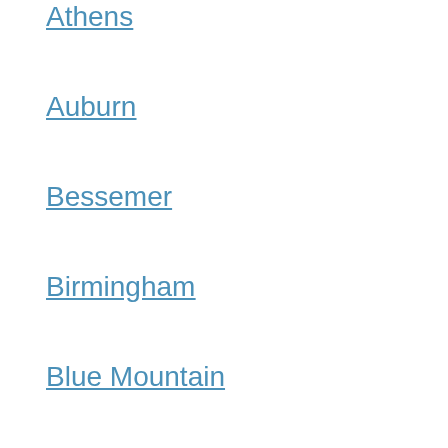Athens
Auburn
Bessemer
Birmingham
Blue Mountain
Calera
Center Point
Center Point
Center Point
Chelsea